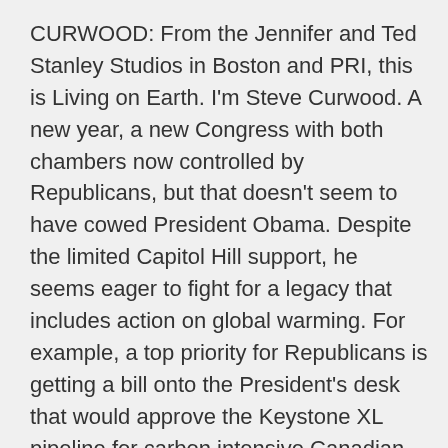CURWOOD: From the Jennifer and Ted Stanley Studios in Boston and PRI, this is Living on Earth. I'm Steve Curwood. A new year, a new Congress with both chambers now controlled by Republicans, but that doesn't seem to have cowed President Obama. Despite the limited Capitol Hill support, he seems eager to fight for a legacy that includes action on global warming. For example, a top priority for Republicans is getting a bill onto the President's desk that would approve the Keystone XL pipeline for carbon intensive Canadian tar sands oil, but White House press secretary Josh Earnest left no doubt what would happen to the measure if it got there.
EARNEST: The fact is this piece of legislation is not altogether different than legislation that was introduced in